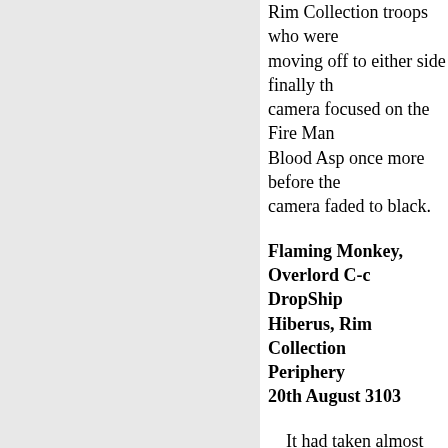Rim Collection troops who were moving off to either side finally the camera focused on the Fire Man Blood Asp once more before the camera faded to black.
Flaming Monkey, Overlord C-c DropShip
Hiberus, Rim Collection Periphery
20th August 3103
It had taken almost forty-eight but finally the two opposing commanders of the Rim Lancers Rim Guards sat opposite each o Both had insisted in taking with t an aid and neither had relinquish their weapons. As a result saKh Jonathan Banacek had placed a of five Battle armoured Elementa around the room. The Elementa been ordered by Banacek to elin